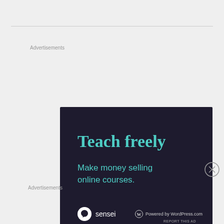[Figure (other): Sensei advertisement with dark navy background. Text reads 'Teach freely' in large teal serif font, followed by 'Make money selling online courses.' in smaller teal sans-serif. Bottom shows Sensei logo (tree icon in white circle) and 'Powered by WordPress.com' text.]
Advertisements
[Figure (other): WordPress.com advertisement on pink/lavender background. Shows WordPress.com logo and 'Start Today' button in dark purple.]
Advertisements